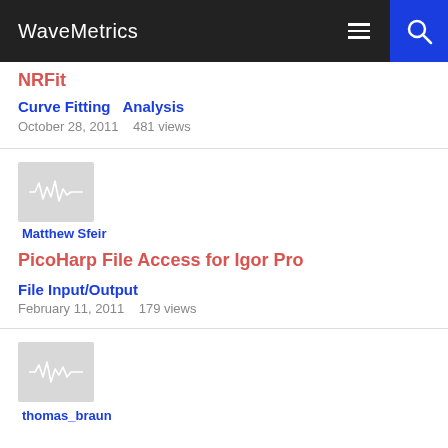WaveMetrics
NRFit
Curve Fitting   Analysis
October 28, 2011    481 views
[Figure (illustration): WaveMetrics user avatar placeholder with waveform graphic]
Matthew Sfeir
PicoHarp File Access for Igor Pro
File Input/Output
February 11, 2011    179 views
[Figure (illustration): WaveMetrics user avatar placeholder with waveform graphic]
thomas_braun